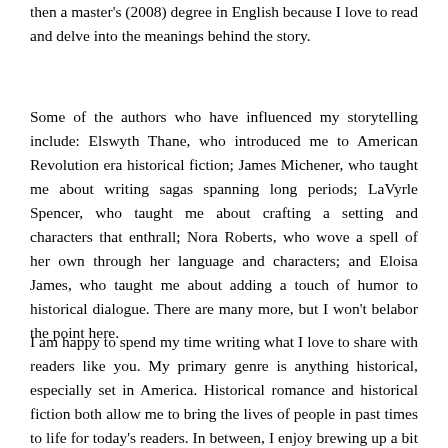then a master's (2008) degree in English because I love to read and delve into the meanings behind the story.
Some of the authors who have influenced my storytelling include: Elswyth Thane, who introduced me to American Revolution era historical fiction; James Michener, who taught me about writing sagas spanning long periods; LaVyrle Spencer, who taught me about crafting a setting and characters that enthrall; Nora Roberts, who wove a spell of her own through her language and characters; and Eloisa James, who taught me about adding a touch of humor to historical dialogue. There are many more, but I won't belabor the point here.
I am happy to spend my time writing what I love to share with readers like you. My primary genre is anything historical, especially set in America. Historical romance and historical fiction both allow me to bring the lives of people in past times to life for today's readers. In between, I enjoy brewing up a bit of witchcraft and ghost stories to entertain both myself and my readers. I feel like there's a bit of the unknown and mystical all around us and try to weave a touch of that sense